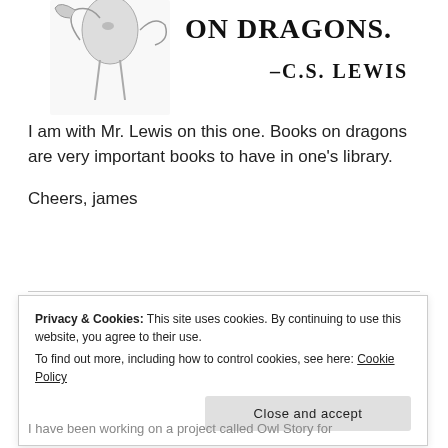[Figure (illustration): Sketch illustration of a person with a dragon, with large stylized text reading 'ON DRAGONS.' and below it '–C.S. LEWIS' in small caps serif font]
I am with Mr. Lewis on this one. Books on dragons are very important books to have in one's library.
Cheers, james
Privacy & Cookies: This site uses cookies. By continuing to use this website, you agree to their use.
To find out more, including how to control cookies, see here: Cookie Policy
Close and accept
I have been working on a project called Owl Story for